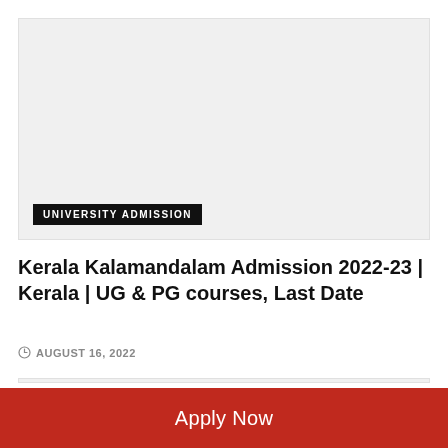[Figure (photo): Top placeholder image area with light gray background]
UNIVERSITY ADMISSION
Kerala Kalamandalam Admission 2022-23 | Kerala | UG & PG courses, Last Date
AUGUST 16, 2022
[Figure (photo): Bottom placeholder image area with light gray background]
Apply Now